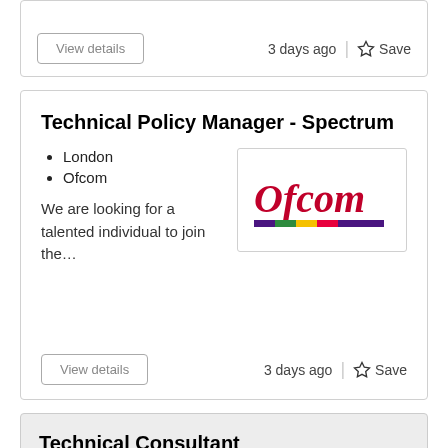View details
3 days ago | ☆ Save
Technical Policy Manager - Spectrum
London
Ofcom
[Figure (logo): Ofcom logo - red text 'Ofcom' with coloured bar underneath]
We are looking for a talented individual to join the…
View details
3 days ago | ☆ Save
Technical Consultant
Guildford, Leeds, London
BAE Systems Digital Intelligence
[Figure (logo): BAE Systems logo - white top half, red bottom with 'BAE SYSTEMS' in white bold text]